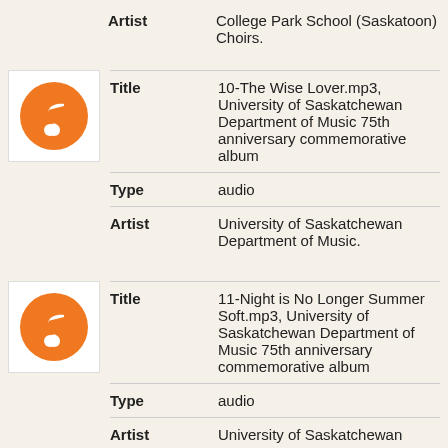Artist: College Park School (Saskatoon) Choirs.
| Field | Value |
| --- | --- |
| Title | 10-The Wise Lover.mp3, University of Saskatchewan Department of Music 75th anniversary commemorative album |
| Type | audio |
| Artist | University of Saskatchewan Department of Music. |
| Field | Value |
| --- | --- |
| Title | 11-Night is No Longer Summer Soft.mp3, University of Saskatchewan Department of Music 75th anniversary commemorative album |
| Type | audio |
| Artist | University of Saskatchewan |